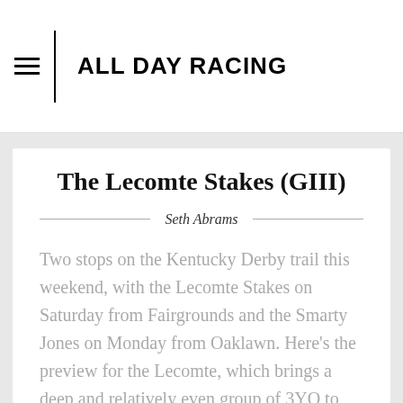ALL DAY RACING
The Lecomte Stakes (GIII)
Seth Abrams
Two stops on the Kentucky Derby trail this weekend, with the Lecomte Stakes on Saturday from Fairgrounds and the Smarty Jones on Monday from Oaklawn. Here's the preview for the Lecomte, which brings a deep and relatively even group of 3YO to contest 8.3 furlongs at the Fairgrounds. I think this is